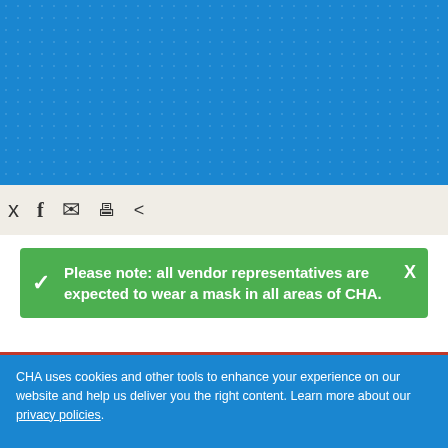[Figure (screenshot): Blue dotted header banner background]
Social sharing toolbar with Twitter, Facebook, email, print, and share icons
Please note: all vendor representatives are expected to wear a mask in all areas of CHA.
CHA Purchasing is part of the Materials Management
CHA uses cookies and other tools to enhance your experience on our website and help us deliver you the right content. Learn more about our privacy policies.
AGREE